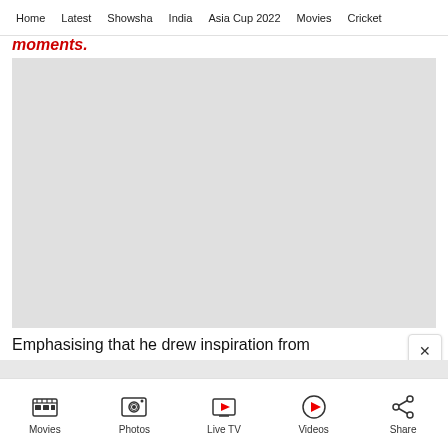Home | Latest | Showsha | India | Asia Cup 2022 | Movies | Cricket
moments.
[Figure (photo): Large grey placeholder image area for a video or photo]
Emphasising that he drew inspiration from
Movies | Photos | Live TV | Videos | Share